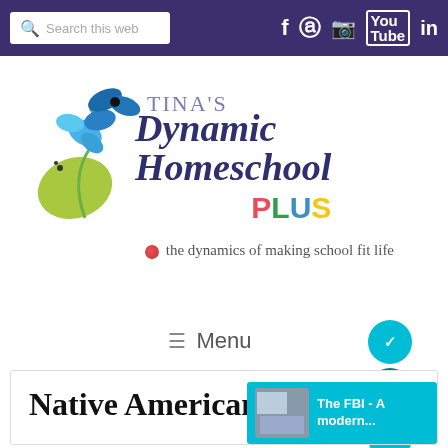[Figure (screenshot): Website header with search box on left and social media icons (Facebook, Pinterest, Instagram, YouTube, LinkedIn) on right against dark purple background]
[Figure (logo): Tina's Dynamic Homeschool Plus logo with floral/butterfly illustration, script text 'Dynamic Homeschool' in dark navy, 'PLUS' in multicolor letters, tagline 'the dynamics of making school fit life']
≡  Menu
Native Americans
[Figure (screenshot): Popup notification showing thumbnail image with text 'The FBI - A modern...' on cyan background]